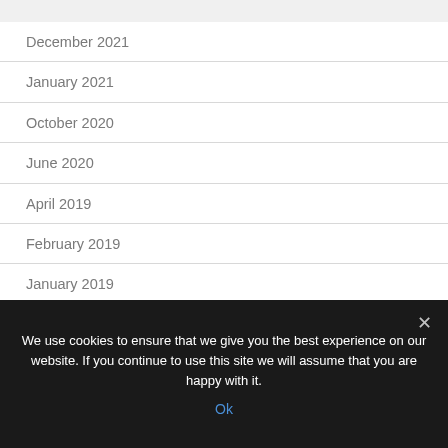December 2021
January 2021
October 2020
June 2020
April 2019
February 2019
January 2019
October 2018
July 2018
We use cookies to ensure that we give you the best experience on our website. If you continue to use this site we will assume that you are happy with it.
Ok